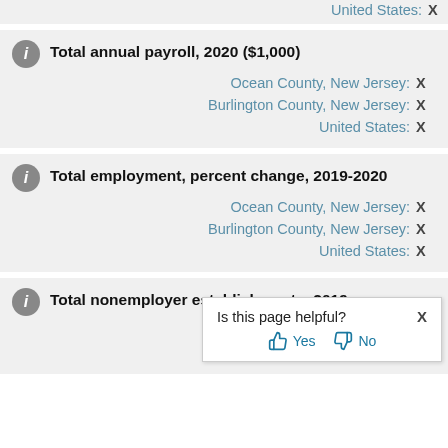United States: X
Total annual payroll, 2020 ($1,000)
Ocean County, New Jersey: X
Burlington County, New Jersey: X
United States: X
Total employment, percent change, 2019-2020
Ocean County, New Jersey: X
Burlington County, New Jersey: X
United States: X
Total nonemployer establishments, 2019
Ocean County, New Jersey: X
Burlington County, New Jersey: X